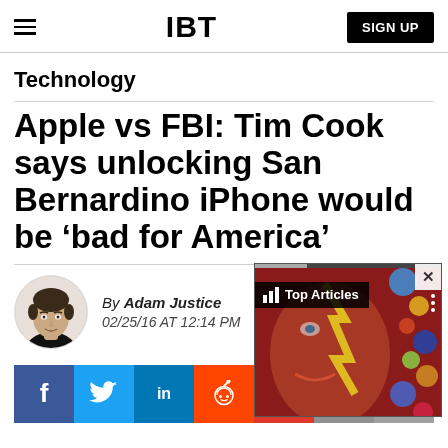IBT | SIGN UP
Technology
Apple vs FBI: Tim Cook says unlocking San Bernardino iPhone would be ‘bad for America’
By Adam Justice
02/25/16 AT 12:14 PM
[Figure (photo): Author headshot of Adam Justice, circular portrait]
[Figure (screenshot): Top Articles overlay popup with David Bowie album art background]
Social share buttons: Facebook, Twitter, LinkedIn, Reddit, Flipboard, Email, Comment